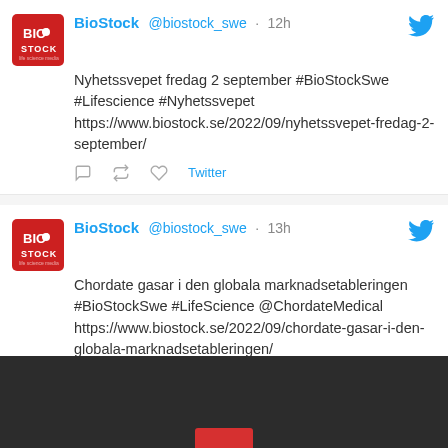[Figure (screenshot): BioStock Twitter avatar - red square with BIO STOCK logo in white]
BioStock @biostock_swe · 12h
Nyhetssvepet fredag 2 september #BioStockSwe #Lifescience #Nyhetssvepet https://www.biostock.se/2022/09/nyhetssvepet-fredag-2-september/
[Figure (screenshot): BioStock Twitter avatar - red square with BIO STOCK logo in white]
BioStock @biostock_swe · 13h
Chordate gasar i den globala marknadsetableringen #BioStockSwe #LifeScience @ChordateMedical https://www.biostock.se/2022/09/chordate-gasar-i-den-globala-marknadsetableringen/
Ladda fler